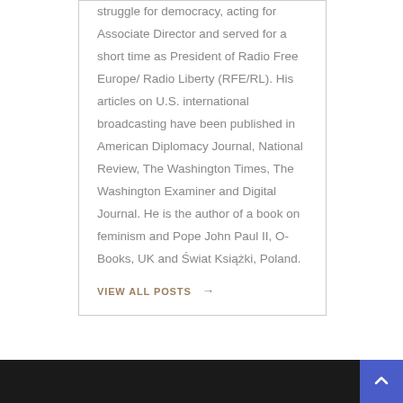struggle for democracy, acting for Associate Director and served for a short time as President of Radio Free Europe/ Radio Liberty (RFE/RL). His articles on U.S. international broadcasting have been published in American Diplomacy Journal, National Review, The Washington Times, The Washington Examiner and Digital Journal. He is the author of a book on feminism and Pope John Paul II, O-Books, UK and Świat Książki, Poland.
VIEW ALL POSTS →